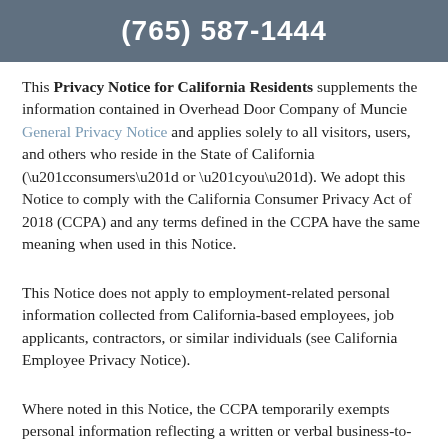(765) 587-1444
This Privacy Notice for California Residents supplements the information contained in Overhead Door Company of Muncie General Privacy Notice and applies solely to all visitors, users, and others who reside in the State of California (“consumers” or “you”). We adopt this Notice to comply with the California Consumer Privacy Act of 2018 (CCPA) and any terms defined in the CCPA have the same meaning when used in this Notice.
This Notice does not apply to employment-related personal information collected from California-based employees, job applicants, contractors, or similar individuals (see California Employee Privacy Notice).
Where noted in this Notice, the CCPA temporarily exempts personal information reflecting a written or verbal business-to-business communication (“B2B personal